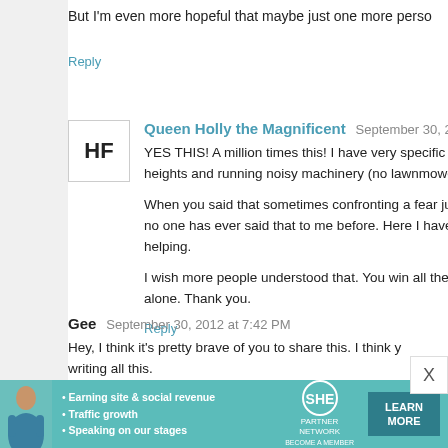But I'm even more hopeful that maybe just one more perso…
Reply
Queen Holly the Magnificent  September 30, 2012 at 7:38
YES THIS! A million times this! I have very specific pho… heights and running noisy machinery (no lawnmower for me…

When you said that sometimes confronting a fear just mak… no one has ever said that to me before. Here I have bee… helping.

I wish more people understood that. You win all the interne… alone. Thank you.
Reply
Gee  September 30, 2012 at 7:42 PM
Hey, I think it's pretty brave of you to share this. I think y… writing all this.
Reply
[Figure (infographic): SHE Partner Network advertisement banner with teal background, a woman photo, bullet points about earning site & social revenue, traffic growth, speaking on stages, SHE logo, and LEARN MORE button]